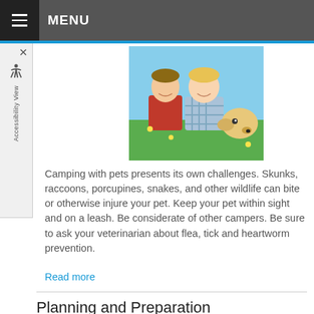MENU
[Figure (photo): Two people (man and child) smiling and lying on grass with a yellow Labrador dog]
Camping with pets presents its own challenges. Skunks, raccoons, porcupines, snakes, and other wildlife can bite or otherwise injure your pet. Keep your pet within sight and on a leash. Be considerate of other campers. Be sure to ask your veterinarian about flea, tick and heartworm prevention.
Read more
Planning and Preparation
Category: Living With Your Pet, Travel